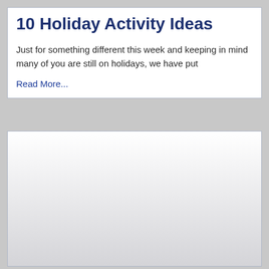10 Holiday Activity Ideas
Just for something different this week and keeping in mind many of you are still on holidays, we have put
Read More...
[Figure (other): Empty white-to-light-gray gradient box, second content card with no visible content]